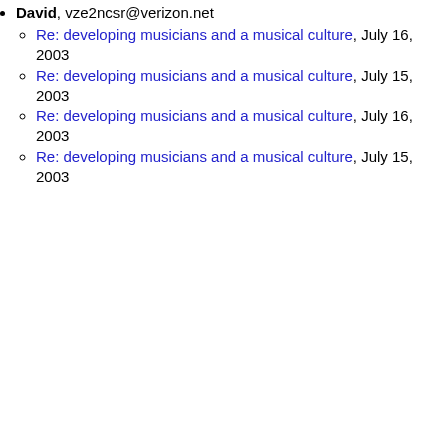musicians and a musical culture, July 16, 2003
Accessibility, July 13, 2003
Re: where to compress?, July 01, 2003
David, vze2ncsr@verizon.net
Re: developing musicians and a musical culture, July 16, 2003
Re: developing musicians and a musical culture, July 15, 2003
Re: developing musicians and a musical culture, July 16, 2003
Re: developing musicians and a musical culture, July 15, 2003